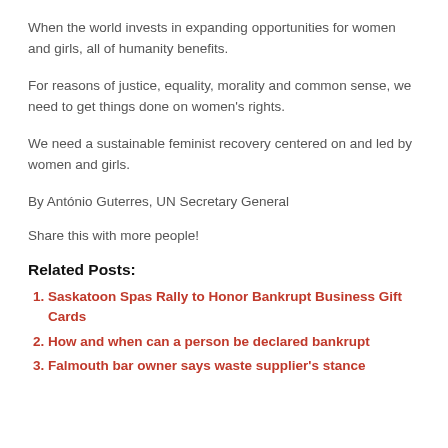When the world invests in expanding opportunities for women and girls, all of humanity benefits.
For reasons of justice, equality, morality and common sense, we need to get things done on women's rights.
We need a sustainable feminist recovery centered on and led by women and girls.
By António Guterres, UN Secretary General
Share this with more people!
Related Posts:
Saskatoon Spas Rally to Honor Bankrupt Business Gift Cards
How and when can a person be declared bankrupt
Falmouth bar owner says waste supplier's stance